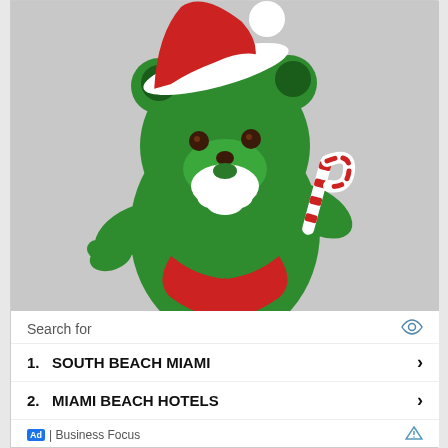[Figure (photo): Green Grateful Dead dancing bear figurine dressed as Santa Claus, wearing a red and white Santa hat, holding a red and white candy cane, with a white beard and red collar/necklace decoration. The bear is against a light grey background.]
Search for
1.   SOUTH BEACH MIAMI
2.   MIAMI BEACH HOTELS
Ad | Business Focus